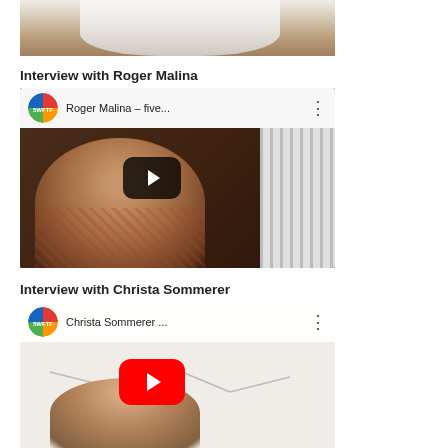[Figure (screenshot): Top portion of a video thumbnail showing a person in a white shirt with hands visible, cropped]
Interview with Roger Malina
[Figure (screenshot): YouTube-style embedded video thumbnail for '5WFTF' channel showing Roger Malina - five... with dark play button overlay, person in plaid shirt seated in front of radiator]
Interview with Christa Sommerer
[Figure (screenshot): YouTube-style embedded video thumbnail for '5WFTF' channel showing Christa Sommerer... with red play button overlay, person in front of whiteboard]